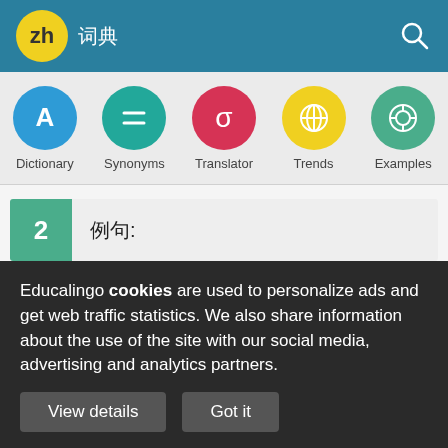zh 词典
[Figure (screenshot): Navigation bar with five circular icons: Dictionary (blue), Synonyms (teal), Translator (red), Trends (yellow), Examples (green)]
2  例句:
□□□□□□□□□□□□□□□□□□□□□□□□□□□□□□□□□□□□□□□□□□□□□□□□□□□□□□□□□□□□□□□□□□□□□□□□□□□□□□□□□□□□□□□□□□□□□□□□□□□□□ ...
Educalingo cookies are used to personalize ads and get web traffic statistics. We also share information about the use of the site with our social media, advertising and analytics partners.